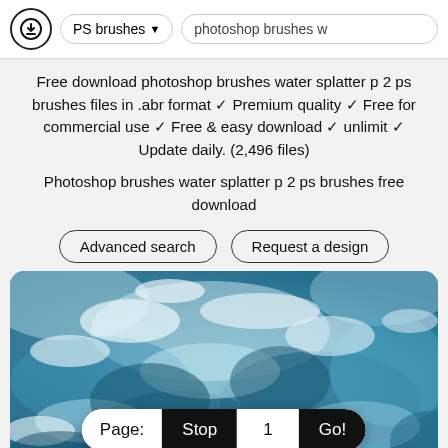PS brushes ▾  photoshop brushes w
Free download photoshop brushes water splatter p 2 ps brushes files in .abr format ✓ Premium quality ✓ Free for commercial use ✓ Free & easy download ✓ unlimit ✓ Update daily. (2,496 files)
Photoshop brushes water splatter p 2 ps brushes free download
Advanced search   Request a design
[Figure (photo): Water splatter/ocean waves photo used as background image]
Page: Stop  1  Go!
Advance Search  Top